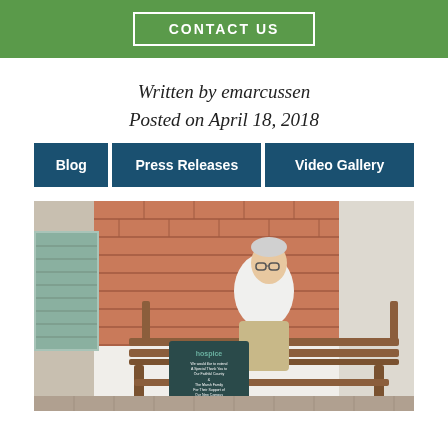CONTACT US
Written by emarcussen
Posted on April 18, 2018
Blog
Press Releases
Video Gallery
[Figure (photo): Man in white shirt sitting on a wooden bench outside a brick building, next to a Hospice plaque]